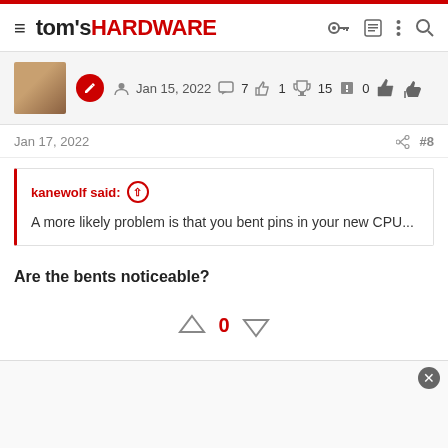tom's HARDWARE
Jan 15, 2022  7  1  15  0
Jan 17, 2022  #8
kanewolf said: ↑
A more likely problem is that you bent pins in your new CPU...
Are the bents noticeable?
↑ 0 ↓